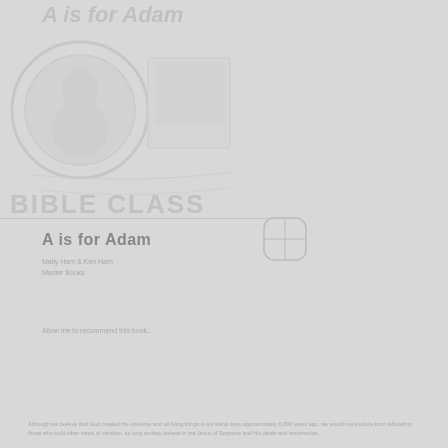[Figure (logo): Faded watermark logo with circular emblem and text 'A is for Adam' in italic, plus a rectangular image area, in light gray]
A is for Adam
Subtitle and descriptive text lines below the title (faded/light gray)
[Figure (other): Small circular play button icon in light gray]
Additional body text lines at lower portion of page (very faint)